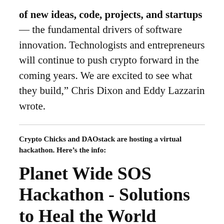of new ideas, code, projects, and startups — the fundamental drivers of software innovation. Technologists and entrepreneurs will continue to push crypto forward in the coming years. We are excited to see what they build," Chris Dixon and Eddy Lazzarin wrote.
Crypto Chicks and DAOstack are hosting a virtual hackathon. Here's the info:
Planet Wide SOS Hackathon - Solutions to Heal the World
Join Planet Wide SOS Hackathon to fund your ideas and solutions that help local